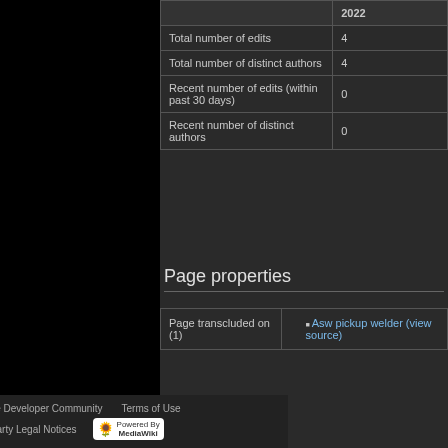|  | 2022 |
| --- | --- |
| Total number of edits | 4 |
| Total number of distinct authors | 4 |
| Recent number of edits (within past 30 days) | 0 |
| Recent number of distinct authors | 0 |
Page properties
| Page transcluded on (1) |  |
| --- | --- |
| Page transcluded on (1) | Asw pickup welder (view source) |
About Valve Developer Community · Terms of Use · Third Party Legal Notices